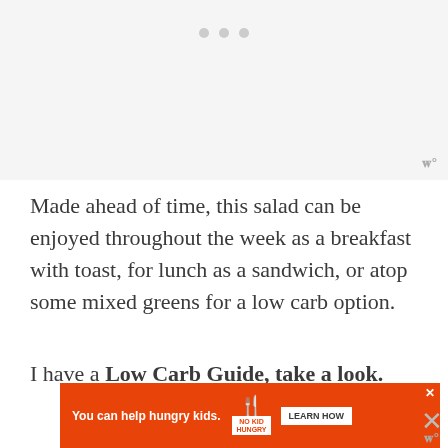[Figure (photo): Image placeholder area at top of page (partially visible/cropped photo), with three navigation dots below it and a watermark logo in bottom-right of image area]
Made ahead of time, this salad can be enjoyed throughout the week as a breakfast with toast, for lunch as a sandwich, or atop some mixed greens for a low carb option.
I have a Low Carb Guide, take a look.
[Figure (other): Orange advertisement banner: 'You can help hungry kids.' with No Kid Hungry logo and LEARN HOW button, with close X button]